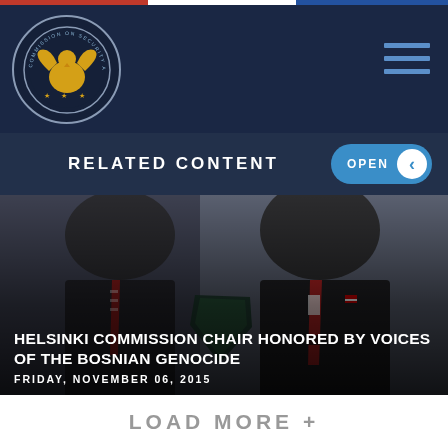Commission on Security and Cooperation in Europe
RELATED CONTENT
[Figure (photo): Two men in suits at an event, one holding a glass plaque award, with a map visible in the background. Dark overlay at bottom of image.]
HELSINKI COMMISSION CHAIR HONORED BY VOICES OF THE BOSNIAN GENOCIDE
FRIDAY, NOVEMBER 06, 2015
LOAD MORE +